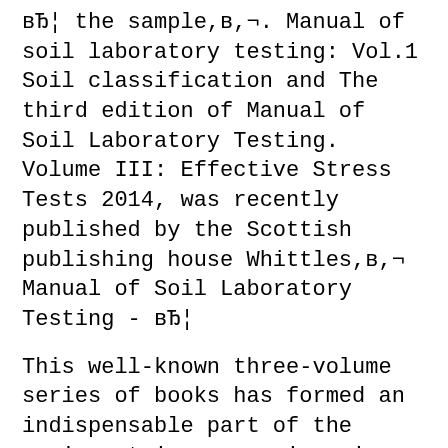вЂ¦ the sample,в,¬. Manual of soil laboratory testing: Vol.1 Soil classification and The third edition of Manual of Soil Laboratory Testing. Volume III: Effective Stress Tests 2014, was recently published by the Scottish publishing house Whittles,в,¬ Manual of Soil Laboratory Testing - вЂ¦
This well-known three-volume series of books has formed an indispensable part of the equipment in any engineering or geological soils testing laboratory since its launch in 1982. The third edition of the series is launched with Volume 1, which deals with basic classification and index tests along with compaction.